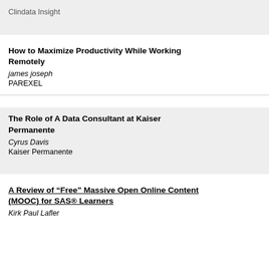Clindata Insight
How to Maximize Productivity While Working Remotely
james joseph
PAREXEL
The Role of A Data Consultant at Kaiser Permanente
Cyrus Davis
Kaiser Permanente
A Review of “Free” Massive Open Online Content (MOOC) for SAS® Learners
Kirk Paul Lafler